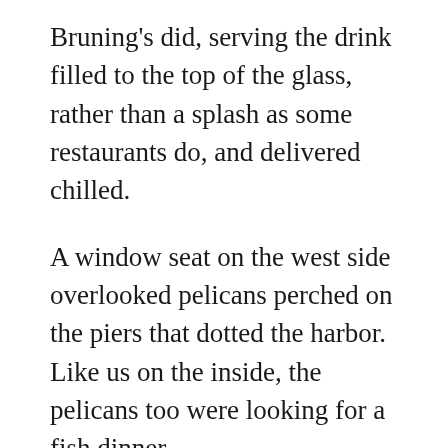Bruning's did, serving the drink filled to the top of the glass, rather than a splash as some restaurants do, and delivered chilled.
A window seat on the west side overlooked pelicans perched on the piers that dotted the harbor. Like us on the inside, the pelicans too were looking for a fish dinner.
This was one of the last places that prepared food in the tradition of West End restaurants. A signature dish was stuffed flounder served on a bed of toast with chubby fries on the side and a modest green salad with a dollop of mayo on top. Other temptations were many